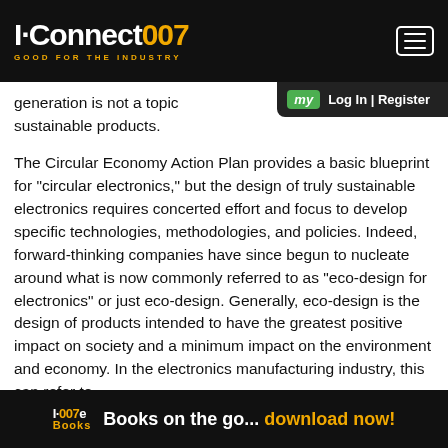I-Connect007 — GOOD FOR THE INDUSTRY
generation is not a topic sustainable products.
The Circular Economy Action Plan provides a basic blueprint for “circular electronics,” but the design of truly sustainable electronics requires concerted effort and focus to develop specific technologies, methodologies, and policies. Indeed, forward-thinking companies have since begun to nucleate around what is now commonly referred to as “eco-design for electronics” or just eco-design. Generally, eco-design is the design of products intended to have the greatest positive impact on society and a minimum impact on the environment and economy. In the electronics manufacturing industry, this can refer to
I-007e Books — Books on the go... download now!